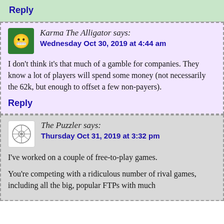Reply
Karma The Alligator says:
Wednesday Oct 30, 2019 at 4:44 am
I don't think it's that much of a gamble for companies. They know a lot of players will spend some money (not necessarily the 62k, but enough to offset a few non-payers).
Reply
The Puzzler says:
Thursday Oct 31, 2019 at 3:32 pm
I've worked on a couple of free-to-play games.
You're competing with a ridiculous number of rival games, including all the big, popular FTPs with much